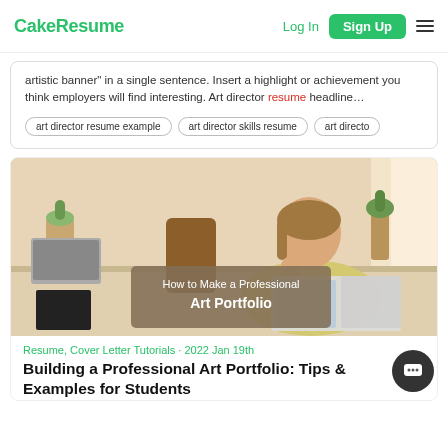CakeResume | Log In | Sign Up
artistic banner" in a single sentence. Insert a highlight or achievement you think employers will find interesting. Art director resume headline…
art director resume example
art director skills resume
art directo
[Figure (photo): Young woman in yellow sweater sitting at a white desk with papers, tablet, and plants, studying. Overlay text reads: How to Make a Professional Art Portfolio]
Resume, Cover Letter Tutorials · 2022 Jan 19th
Building a Professional Art Portfolio: Tips & Examples for Students